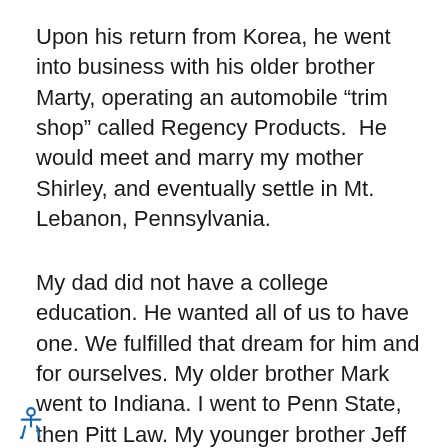Upon his return from Korea, he went into business with his older brother Marty, operating an automobile “trim shop” called Regency Products.  He would meet and marry my mother Shirley, and eventually settle in Mt. Lebanon, Pennsylvania.
My dad did not have a college education. He wanted all of us to have one. We fulfilled that dream for him and for ourselves. My older brother Mark went to Indiana. I went to Penn State, then Pitt Law. My younger brother Jeff earned his bachelors degree from  Southwest Texas State, then his masters from the University